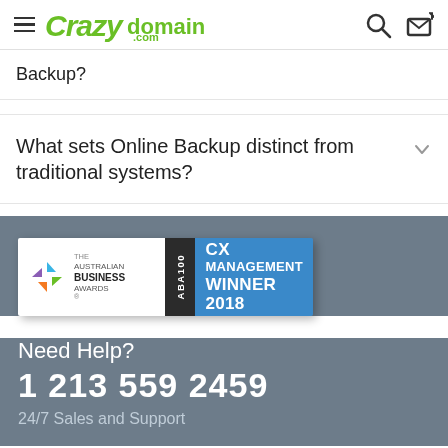Crazy domains .com
Backup?
What sets Online Backup distinct from traditional systems?
[Figure (logo): The Australian Business Awards ABA100 CX Management Winner 2018 badge]
Need Help?
1 213 559 2459
24/7 Sales and Support